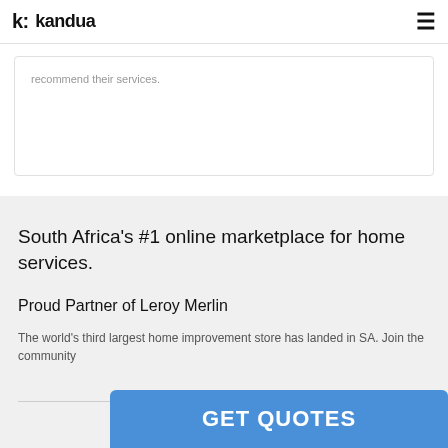k: kandua
recommend their services.
South Africa's #1 online marketplace for home services.
Proud Partner of Leroy Merlin
The world's third largest home improvement store has landed in SA. Join the community